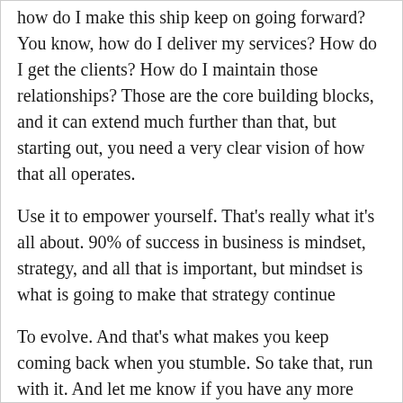how do I make this ship keep on going forward? You know, how do I deliver my services? How do I get the clients? How do I maintain those relationships? Those are the core building blocks, and it can extend much further than that, but starting out, you need a very clear vision of how that all operates.
Use it to empower yourself. That's really what it's all about. 90% of success in business is mindset, strategy, and all that is important, but mindset is what is going to make that strategy continue
To evolve. And that's what makes you keep coming back when you stumble. So take that, run with it. And let me know if you have any more questions on mindset.